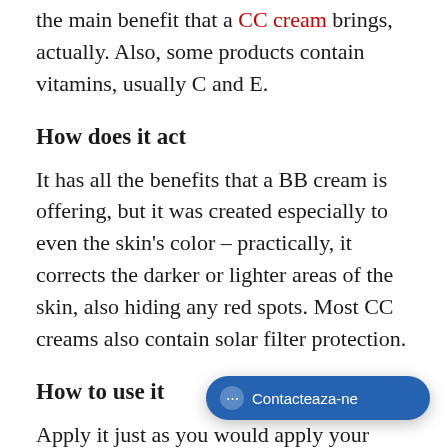the main benefit that a CC cream brings, actually. Also, some products contain vitamins, usually C and E.
How does it act
It has all the benefits that a BB cream is offering, but it was created especially to even the skin's color – practically, it corrects the darker or lighter areas of the skin, also hiding any red spots. Most CC creams also contain solar filter protection.
How to use it
Apply it just as you would apply your foundation or a BB cream – with a brush, sponge, or with your fingers. Use a CC cream if your complexion is pro… your skin is dull, you have black spots or re…